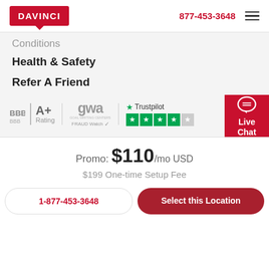DAVINCI  877-453-3648
Conditions
Health & Safety
Refer A Friend
[Figure (logo): BBB A+ Rating badge, GWA FRAUD Watch badge, Trustpilot 4-star rating badge, Live Chat button]
Promo: $110/mo USD
$199 One-time Setup Fee
1-877-453-3648
Select this Location